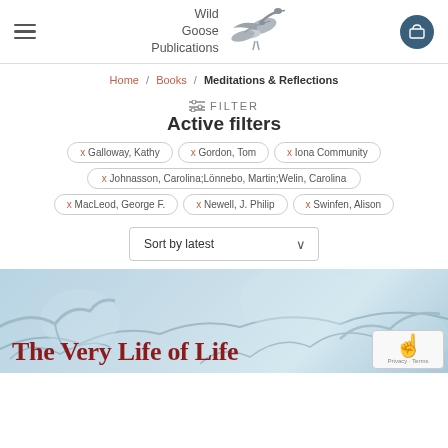Wild Goose Publications — navigation header with hamburger menu and cart
Home / Books / Meditations & Reflections
⚙ FILTER
Active filters
x Galloway, Kathy
x Gordon, Tom
x Iona Community
x Johnasson, Carolina;Lönnebo, Martin;Welin, Carolina
x MacLeod, George F.
x Newell, J. Philip
x Swinfen, Alison
Sort by latest
[Figure (screenshot): Book cover strip showing 'The Very Life of Life' title text over a blurred winter branch background image]